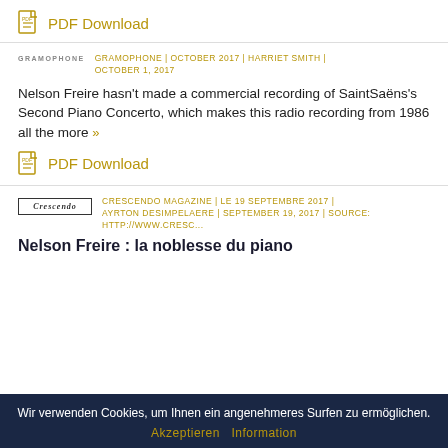PDF Download
GRAMOPHONE | OCTOBER 2017 | HARRIET SMITH | OCTOBER 1, 2017
Nelson Freire hasn't made a commercial recording of SaintSaëns's Second Piano Concerto, which makes this radio recording from 1986 all the more »
PDF Download
CRESCENDO MAGAZINE | LE 19 SEPTEMBRE 2017 | AYRTON DESIMPELAERE | SEPTEMBER 19, 2017 | SOURCE: HTTP://WWW.CRESC...
Nelson Freire : la noblesse du piano
Wir verwenden Cookies, um Ihnen ein angenehmeres Surfen zu ermöglichen.
Akzeptieren Information